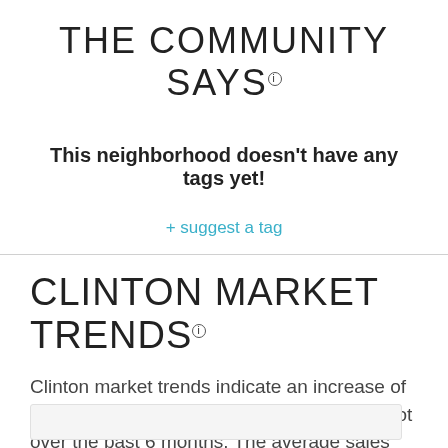THE COMMUNITY SAYS ℹ
This neighborhood doesn't have any tags yet!
+ suggest a tag
CLINTON MARKET TRENDS ℹ
Clinton market trends indicate an increase of $10 (6%) in the average price per square foot over the past 6 months. The average sales price is up to $219,000 from $158,750 six months ago. The average time on market for properties in Clinton is 2 days. Buyers can expect to pay 104% of the seller's asking price.